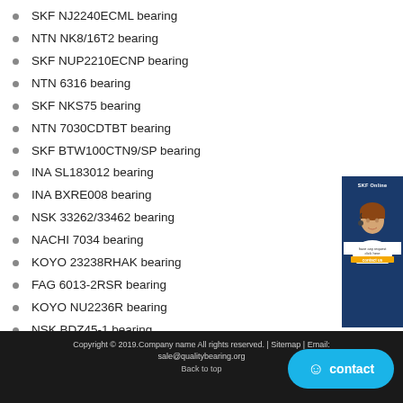SKF NJ2240ECML bearing
NTN NK8/16T2 bearing
SKF NUP2210ECNP bearing
NTN 6316 bearing
SKF NKS75 bearing
NTN 7030CDTBT bearing
SKF BTW100CTN9/SP bearing
INA SL183012 bearing
INA BXRE008 bearing
NSK 33262/33462 bearing
NACHI 7034 bearing
KOYO 23238RHAK bearing
FAG 6013-2RSR bearing
KOYO NU2236R bearing
NSK BDZ45-1 bearing
KOYO N336 bearing
IKO BA1210Z bearing
[Figure (photo): Customer service representative photo with dark blue background and orange button]
Copyright © 2019.Company name All rights reserved. | Sitemap | sale@qualitybearing.org
Back to top